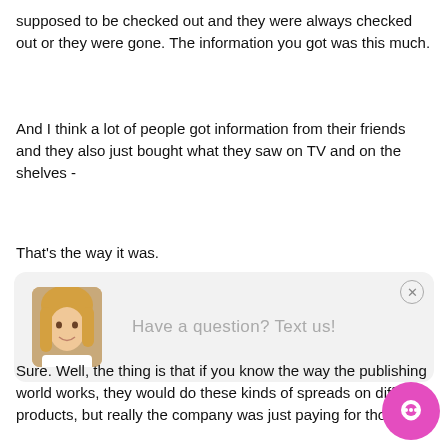supposed to be checked out and they were always checked out or they were gone. The information you got was this much.
And I think a lot of people got information from their friends and they also just bought what they saw on TV and on the shelves -
That's the way it was.
[Figure (screenshot): Chat widget with avatar photo of a blonde woman and text 'Have a question? Text us!' on a light gray background with a close button (X) in the top right corner.]
Sure. Well, the thing is that if you know the way the publishing world works, they would do these kinds of spreads on different products, but really the company was just paying for those.